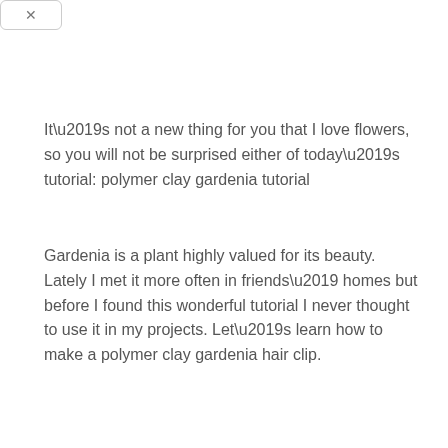It’s not a new thing for you that I love flowers, so you will not be surprised either of today’s tutorial: polymer clay gardenia tutorial
Gardenia is a plant highly valued for its beauty. Lately I met it more often in friends’ homes but before I found this wonderful tutorial I never thought to use it in my projects. Let’s learn how to make a polymer clay gardenia hair clip.